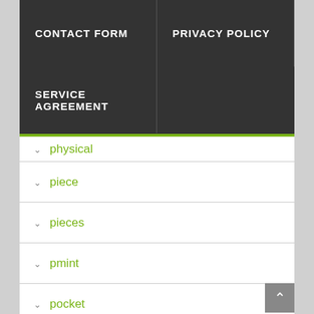CONTACT FORM | PRIVACY POLICY | SERVICE AGREEMENT
physical
piece
pieces
pmint
pocket
pointed
potential
pound
pr69
pr70
pr70dcam
pre-sale